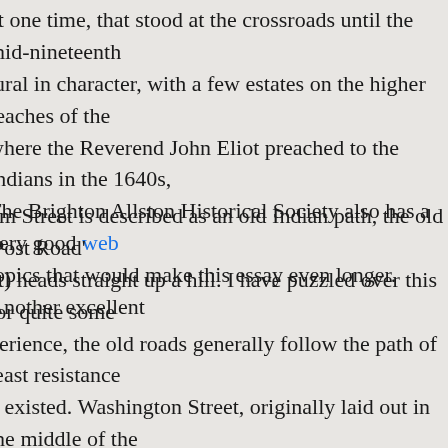at one time, that stood at the crossroads until the mid-nineteenth tural in character, with a few estates on the higher reaches of the where the Reverend John Eliot preached to the Indians in the 1640s, The Brighton Allston Historical Society also has a very good web topics that would make this essay even longer. Another excellent
um Street is described as an old Indian path, the old 'Post Road' et) heads straight up a hill. I have puzzled over this for quite some perience, the old roads generally follow the path of least resistance y existed. Washington Street, originally laid out in the middle of the tury as "the Roxbury Path, by which Roxbury people went to the rtown"(Drake p.290), seems to disregard that tenet by heading y steep hill, instead of following Nonantum Street and then Waverly Washington Street again near Newton Corner. However, Nonantum es the same elevation, around 130 feet above sea level, that et reaches at the summit of Hunnewell Hill. Since the distance is shorter along Washington Street than by Nonantum Street and then , it seems that the decision to build the 'new' road might have been more direct path to the falls at Watertown. Evidence that et over Hunnewell Hill may in fact be the 'proper Post Road' can be map from 1775 shown below of the Boston area made by a pair of